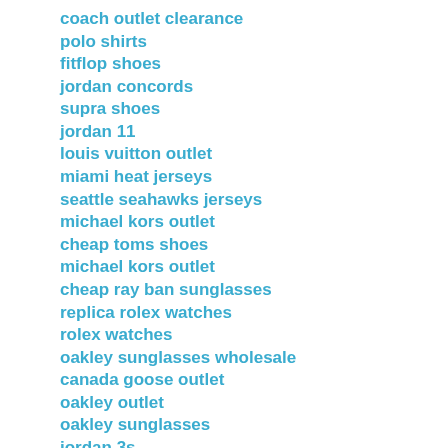coach outlet clearance
polo shirts
fitflop shoes
jordan concords
supra shoes
jordan 11
louis vuitton outlet
miami heat jerseys
seattle seahawks jerseys
michael kors outlet
cheap toms shoes
michael kors outlet
cheap ray ban sunglasses
replica rolex watches
rolex watches
oakley sunglasses wholesale
canada goose outlet
oakley outlet
oakley sunglasses
jordan 3s
timberland boots
clarisonic